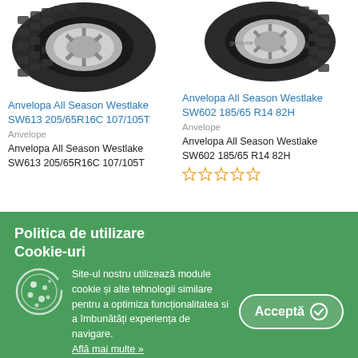[Figure (photo): Tire product image - Anvelopa All Season Westlake SW613 205/65R16C 107/105T]
Anvelopa All Season Westlake SW613 205/65R16C 107/105T
Anvelope
Anvelopa All Season Westlake SW613 205/65R16C 107/105T
[Figure (photo): Tire product image - Anvelopa All Season Westlake SW602 185/65 R14 82H]
Anvelopa All Season Westlake SW602 185/65 R14 82H
Anvelope
Anvelopa All Season Westlake SW602 185/65 R14 82H
Politica de utilizare Cookie-uri
Site-ul nostru utilizează module cookie și alte tehnologii similare pentru a optimiza funcționalitatea si a îmbunătăți experiența de navigare.
Află mai multe »